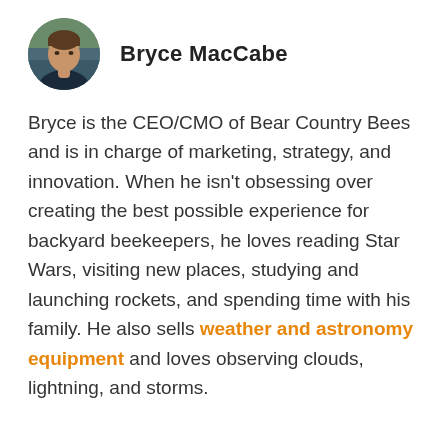[Figure (photo): Circular avatar photo of Bryce MacCabe, a man in a dark shirt]
Bryce MacCabe
Bryce is the CEO/CMO of Bear Country Bees and is in charge of marketing, strategy, and innovation. When he isn't obsessing over creating the best possible experience for backyard beekeepers, he loves reading Star Wars, visiting new places, studying and launching rockets, and spending time with his family. He also sells weather and astronomy equipment and loves observing clouds, lightning, and storms.